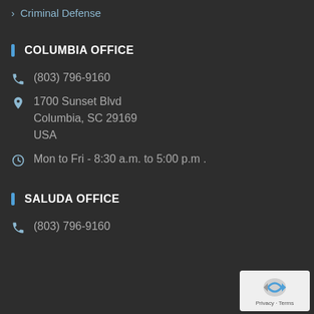Criminal Defense
COLUMBIA OFFICE
(803) 796-9160
1700 Sunset Blvd
Columbia, SC 29169
USA
Mon to Fri - 8:30 a.m. to 5:00 p.m .
SALUDA OFFICE
(803) 796-9160